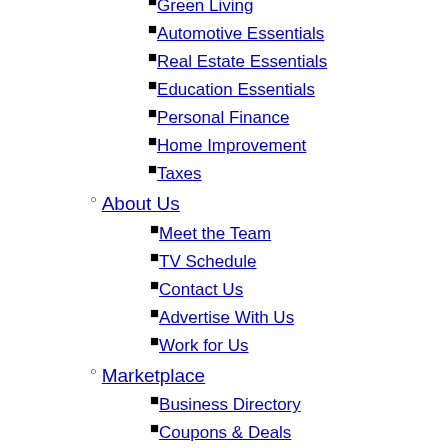Green Living
Automotive Essentials
Real Estate Essentials
Education Essentials
Personal Finance
Home Improvement
Taxes
About Us
Meet the Team
TV Schedule
Contact Us
Advertise With Us
Work for Us
Marketplace
Business Directory
Coupons & Deals
Free Classifieds
Job Listings
Coupon Bug
Professionals
Better Body
Ozarks Live
News
Weather
Community